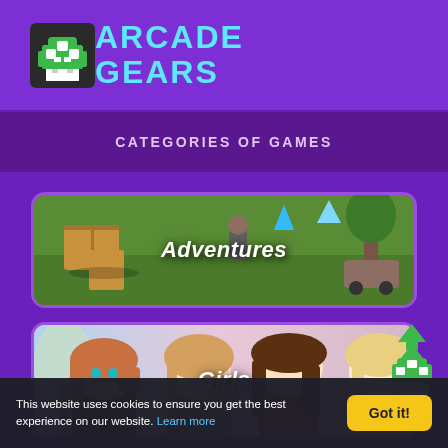[Figure (logo): Arcade Gears logo with pixel mushroom icon and cyan text]
CATEGORIES OF GAMES
[Figure (illustration): Adventures game category card with aerial strategy game scene]
[Figure (illustration): Girls game category card with anime-style princess characters]
[Figure (illustration): Driving game category card with orange sports car]
[Figure (illustration): Back to top button with green pixel mushroom and up arrows]
This website uses cookies to ensure you get the best experience on our website. Learn more
Got it!